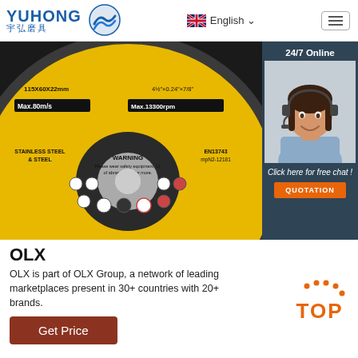[Figure (logo): Yuhong brand logo with blue text YUHONG and Chinese characters 宇弘磨具, with blue wave/globe icon]
[Figure (screenshot): Website header showing Yuhong logo, English language selector with UK flag, and hamburger menu icon]
[Figure (photo): Close-up photo of a yellow and black grinding/cutting disc labeled with 115x60x22mm, Max.80m/s, Max.13300rpm, STAINLESS STEEL & STEEL, WARNING text, EN13743 safety ratings]
[Figure (photo): 24/7 Online chat widget showing a female customer service agent wearing a headset, with Click here for free chat! and QUOTATION button]
OLX
OLX is part of OLX Group, a network of leading marketplaces present in 30+ countries with 20+ brands.
[Figure (logo): TOP button with orange dots above orange TOP text]